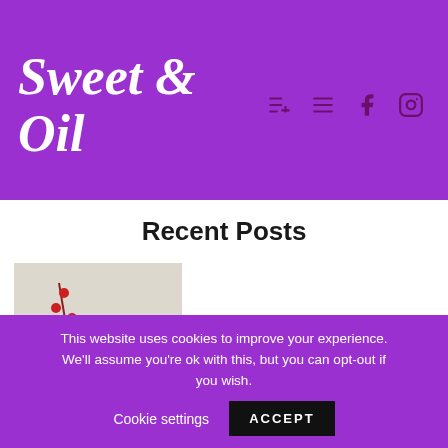Sweet & Oil
Recent Posts
[Figure (photo): Thumbnail of chocolate pudding in a white cup held by a hand, with red berries on a white background]
Healthy chocolate pudding with 2 ingredients
[Figure (photo): Thumbnail of a woman with curly hair wearing a yellow sweater, looking thoughtfully with hand on chin]
Sometimes I binge
This website uses cookies to improve your experience. We'll assume you're ok with this, but you can opt-out if you wish.    Cookie settings    ACCEPT